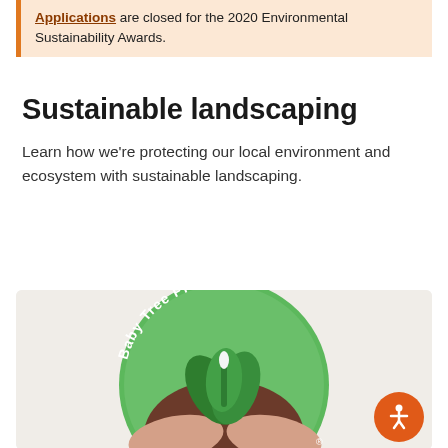Applications are closed for the 2020 Environmental Sustainability Awards.
Sustainable landscaping
Learn how we're protecting our local environment and ecosystem with sustainable landscaping.
[Figure (logo): Baby Tree Program circular green logo with a seedling plant held in cupped hands, with text 'Baby Tree Program' arching around the top]